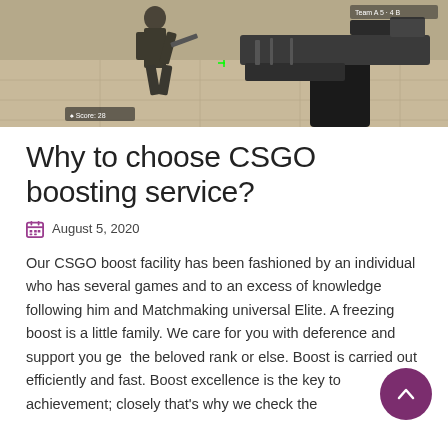[Figure (screenshot): Screenshot from a first-person shooter video game (CSGO), showing a soldier running and a player holding a rifle with weapon HUD elements visible.]
Why to choose CSGO boosting service?
August 5, 2020
Our CSGO boost facility has been fashioned by an individual who has several games and to an excess of knowledge following him and Matchmaking universal Elite. A freezing boost is a little family. We care for you with deference and support you get the beloved rank or else. Boost is carried out efficiently and fast. Boost excellence is the key to achievement; closely that's why we check the